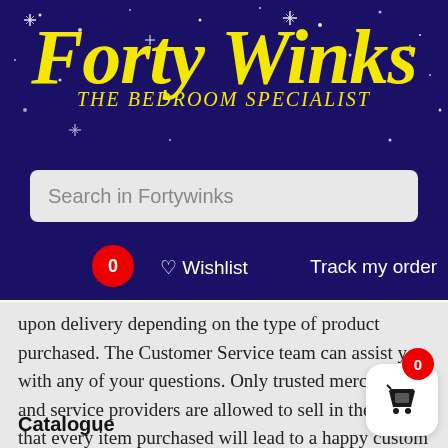[Figure (logo): Forty Winks - The Bedroom Specialist logo with yellow italic text on dark navy blue background with stars]
Search in Fortywinks
0
♡ Wishlist
Track my order
upon delivery depending on the type of product purchased. The Customer Service team can assist you with any of your questions. Only trusted merchants and service providers are allowed to sell in the site so that every item purchased will lead to a happy custom
Catalogue